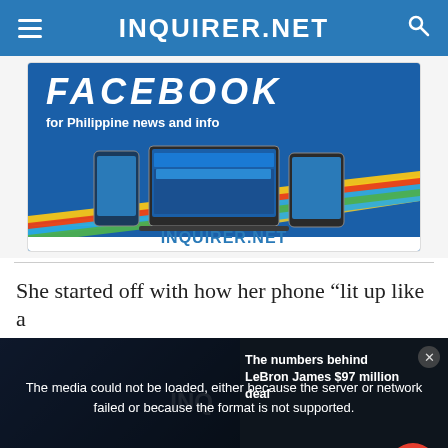INQUIRER.NET
[Figure (screenshot): INQUIRER.NET Facebook promotional banner showing 'FACEBOOK for Philippine news and info' with devices displaying the Inquirer.net Facebook page, and colorful diagonal stripes]
She started off with how her phone “lit up like a
[Figure (screenshot): Video player with media error overlay: 'The media could not be loaded, either because the server or network failed or because the format is not supported.' Background shows basketball player with text 'THE NUMBERS BEHIND LEBRON JAMES' $97 MILLION DEAL'. Right side shows 'The numbers behind LeBron James $97 million deal'. Close (x) button at top right. X dismiss button at bottom center. Red chat button at bottom right.]